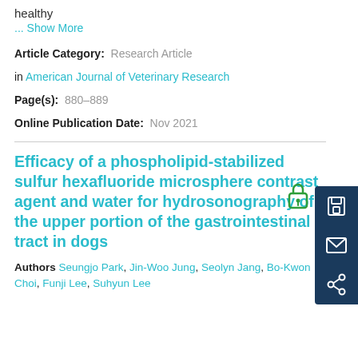healthy
... Show More
Article Category:  Research Article
in American Journal of Veterinary Research
Page(s):  880–889
Online Publication Date:  Nov 2021
Efficacy of a phospholipid-stabilized sulfur hexafluoride microsphere contrast agent and water for hydrosonography of the upper portion of the gastrointestinal tract in dogs
Authors Seungjo Park, Jin-Woo Jung, Seolyn Jang, Bo-Kwon Choi, Funji Lee, Suhyun Lee